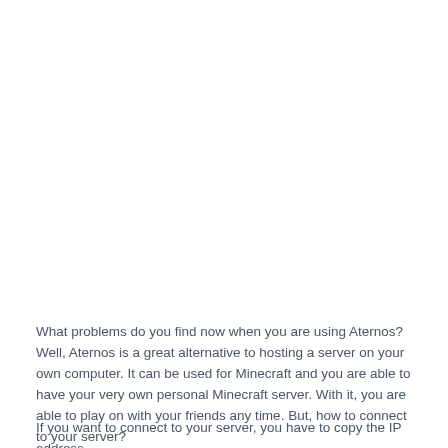What problems do you find now when you are using Aternos? Well, Aternos is a great alternative to hosting a server on your own computer. It can be used for Minecraft and you are able to have your very own personal Minecraft server. With it, you are able to play on with your friends any time. But, how to connect to your server?
If you want to connect to your server, you have to copy the IP address.